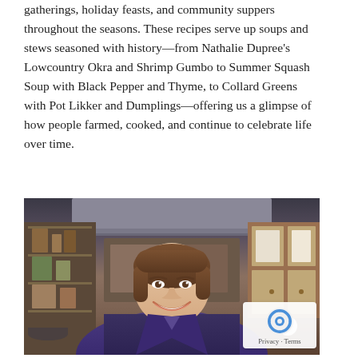gatherings, holiday feasts, and community suppers throughout the seasons. These recipes serve up soups and stews seasoned with history—from Nathalie Dupree's Lowcountry Okra and Shrimp Gumbo to Summer Squash Soup with Black Pepper and Thyme, to Collard Greens with Pot Likker and Dumplings—offering us a glimpse of how people farmed, cooked, and continue to celebrate life over time.
[Figure (photo): A smiling woman with short brown hair wearing a purple jacket, seated in a kitchen with shelving units, cookware, and wooden cabinets visible in the background.]